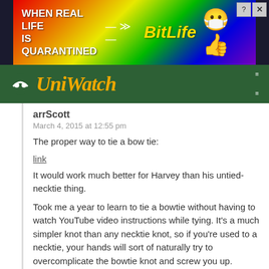[Figure (screenshot): BitLife advertisement banner with rainbow background, text 'WHEN REAL LIFE IS QUARANTINED' and 'BitLife' logo with emoji graphics]
[Figure (logo): UniWatch website navigation bar with logo and hamburger menu on dark green background]
arrScott
March 4, 2015 at 12:55 pm
The proper way to tie a bow tie:
link
It would work much better for Harvey than his untied-necktie thing.
Took me a year to learn to tie a bowtie without having to watch YouTube video instructions while tying. It's a much simpler knot than any necktie knot, so if you're used to a necktie, your hands will sort of naturally try to overcomplicate the bowtie knot and screw you up.
Chris
March 4, 2015 at 2:11 pm
How to tie a bow tie? The same way you tie your shoes, assuming you do that correctly. Which most